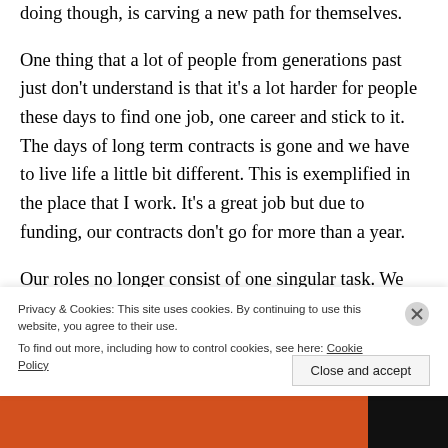doing though, is carving a new path for themselves.
One thing that a lot of people from generations past just don't understand is that it's a lot harder for people these days to find one job, one career and stick to it. The days of long term contracts is gone and we have to live life a little bit different. This is exemplified in the place that I work. It's a great job but due to funding, our contracts don't go for more than a year. Our roles no longer consist of one singular task. We
Privacy & Cookies: This site uses cookies. By continuing to use this website, you agree to their use.
To find out more, including how to control cookies, see here: Cookie Policy
Close and accept